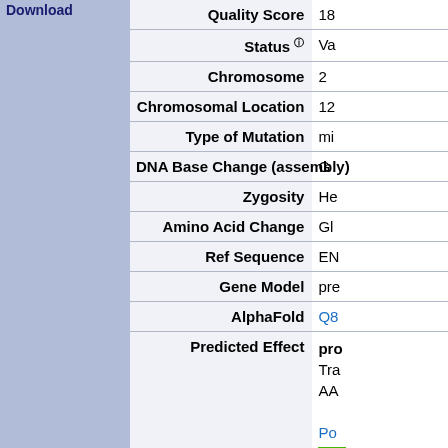| Field | Value |
| --- | --- |
| Quality Score | 18 |
| Status (?) | Va... |
| Chromosome | 2 |
| Chromosomal Location | 12... |
| Type of Mutation | mi... |
| DNA Base Change (assembly) | G ... |
| Zygosity | He... |
| Amino Acid Change | Gl... |
| Ref Sequence | EN... |
| Gene Model | pre... |
| AlphaFold | Q8... |
| Predicted Effect | pro...
Tra...
AA...

Po... |